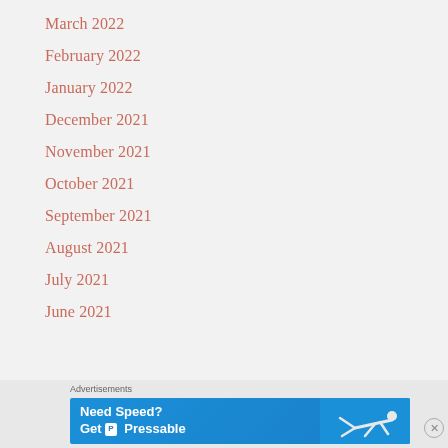March 2022
February 2022
January 2022
December 2021
November 2021
October 2021
September 2021
August 2021
July 2021
June 2021
[Figure (illustration): Advertisement banner: 'Need Speed? Get P Pressable' with a figure of a person diving/flying, on a blue background]